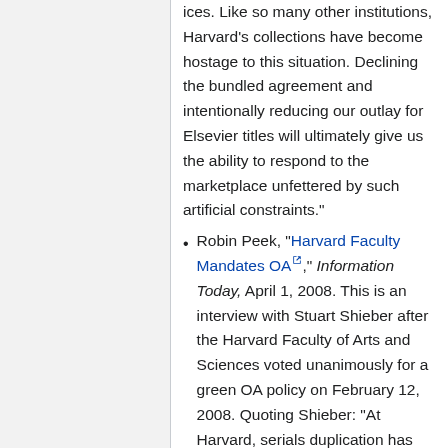ices. Like so many other institutions, Harvard's collections have become hostage to this situation. Declining the bundled agreement and intentionally reducing our outlay for Elsevier titles will ultimately give us the ability to respond to the marketplace unfettered by such artificial constraints."
Robin Peek, "Harvard Faculty Mandates OA," Information Today, April 1, 2008. This is an interview with Stuart Shieber after the Harvard Faculty of Arts and Sciences voted unanimously for a green OA policy on February 12, 2008. Quoting Shieber: "At Harvard, serials duplication has been all but eliminated and serious cancellation efforts have